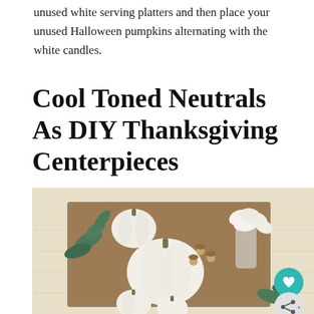unused white serving platters and then place your unused Halloween pumpkins alternating with the white candles.
Cool Toned Neutrals As DIY Thanksgiving Centerpieces
[Figure (photo): Overhead view of a rustic wooden tray centerpiece with white pumpkins of various sizes, white flowers in a glass vase, acorns, and eucalyptus greenery arranged on a light wood floor surface. Two circular buttons visible: a teal heart/save button and a grey share button.]